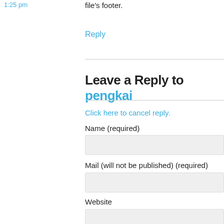1:25 pm
file's footer.
Reply
Leave a Reply to pengkai
Click here to cancel reply.
Name (required)
Mail (will not be published) (required)
Website
Enter comment